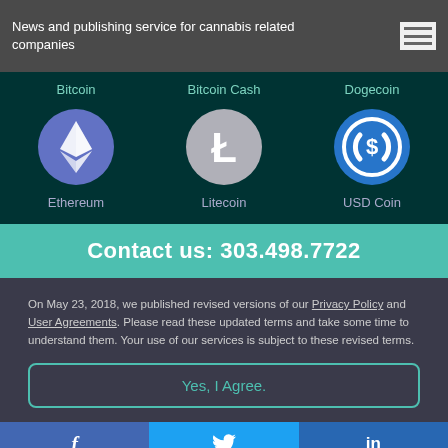News and publishing service for cannabis related companies
[Figure (infographic): Six cryptocurrency icons and labels arranged in two rows: Bitcoin, Bitcoin Cash, Dogecoin (top row labels), Ethereum, Litecoin, USD Coin (bottom row with icons)]
Contact us: 303.498.7722
On May 23, 2018, we published revised versions of our Privacy Policy and User Agreements. Please read these updated terms and take some time to understand them. Your use of our services is subject to these revised terms.
Yes, I Agree.
f   Twitter   in